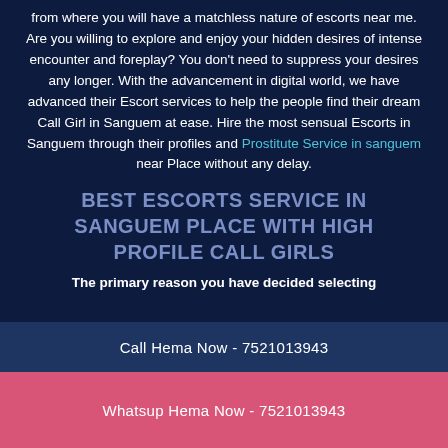from where you will have a matchless nature of escorts near me. Are you willing to explore and enjoy your hidden desires of intense encounter and foreplay? You don't need to suppress your desires any longer. With the advancement in digital world, we have advanced their Escort services to help the people find their dream Call Girl in Sanguem at ease. Hire the most sensual Escorts in Sanguem through their profiles and Prostitute Service in sanguem near Place without any delay.
BEST ESCORTS SERVICE IN SANGUEM PLACE WITH HIGH PROFILE CALL GIRLS
The primary reason you have decided selecting
Call Hema Now - 7521013943
Whatsup Hema Now - 7521013943